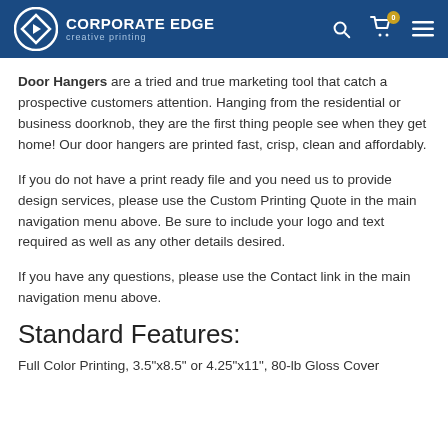Corporate Edge creative printing
Door Hangers are a tried and true marketing tool that catch a prospective customers attention. Hanging from the residential or business doorknob, they are the first thing people see when they get home! Our door hangers are printed fast, crisp, clean and affordably.
If you do not have a print ready file and you need us to provide design services, please use the Custom Printing Quote in the main navigation menu above. Be sure to include your logo and text required as well as any other details desired.
If you have any questions, please use the Contact link in the main navigation menu above.
Standard Features:
Full Color Printing, 3.5"x8.5" or 4.25"x11", 80-lb Gloss Cover